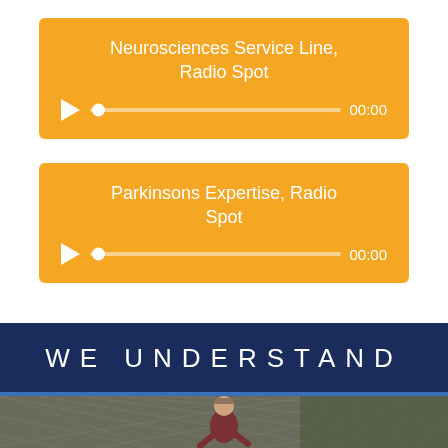[Figure (other): Orange audio player widget for 'Neurosciences Service Line, Radio Spot' with play button, scrubber track, and 00:00 timestamp]
[Figure (other): Orange audio player widget for 'Parkinsons Expertise, Radio Spot' with play button, scrubber track, and 00:00 timestamp]
WE UNDERSTAND
[Figure (photo): Photo of a person playing basketball outdoors near a chain-link fence]